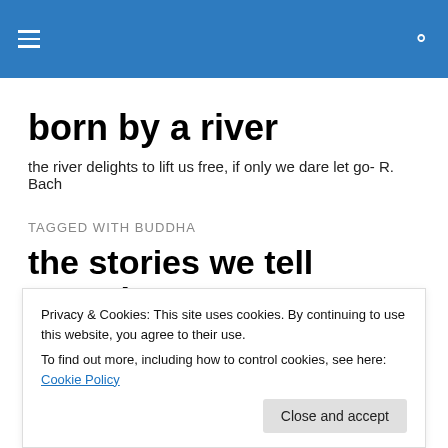born by a river [navigation header with hamburger menu and search icon]
born by a river
the river delights to lift us free, if only we dare let go- R. Bach
TAGGED WITH BUDDHA
the stories we tell ourselves
There is an endless buzz of chatter in my head
Privacy & Cookies: This site uses cookies. By continuing to use this website, you agree to their use.
To find out more, including how to control cookies, see here: Cookie Policy
Close and accept